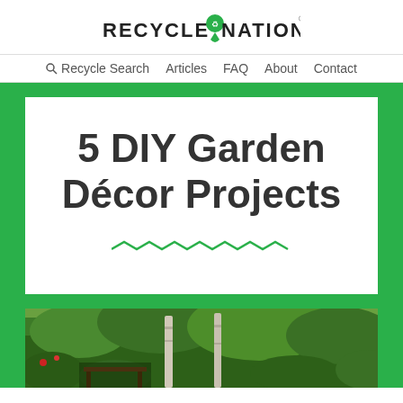RECYCLE NATION
Recycle Search  Articles  FAQ  About  Contact
5 DIY Garden Décor Projects
[Figure (photo): Garden photo showing trees and lush green foliage with birch trees visible]